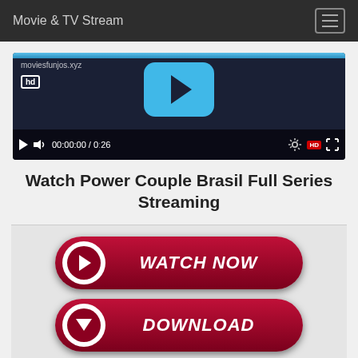Movie & TV Stream
[Figure (screenshot): Video player with HD badge, blue progress bar, large cyan play button, and playback controls showing 00:00:00 / 0:26 timecode]
Watch Power Couple Brasil Full Series Streaming
[Figure (infographic): WATCH NOW button - dark red pill-shaped button with white circle play icon on left and italic white text WATCH NOW]
[Figure (infographic): DOWNLOAD button - dark red pill-shaped button with white circle down-arrow icon on left and italic white text DOWNLOAD]